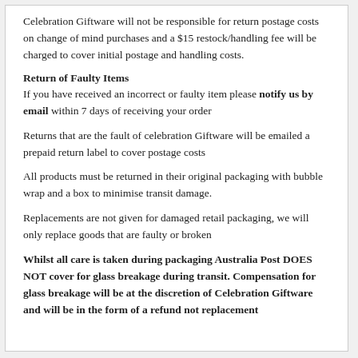Celebration Giftware will not be responsible for return postage costs on change of mind purchases and a $15 restock/handling fee will be charged to cover initial postage and handling costs.
Return of Faulty Items
If you have received an incorrect or faulty item please notify us by email within 7 days of receiving your order
Returns that are the fault of celebration Giftware will be emailed a prepaid return label to cover postage costs
All products must be returned in their original packaging with bubble wrap and a box to minimise transit damage.
Replacements are not given for damaged retail packaging, we will only replace goods that are faulty or broken
Whilst all care is taken during packaging Australia Post DOES NOT cover for glass breakage during transit. Compensation for glass breakage will be at the discretion of Celebration Giftware and will be in the form of a refund not replacement